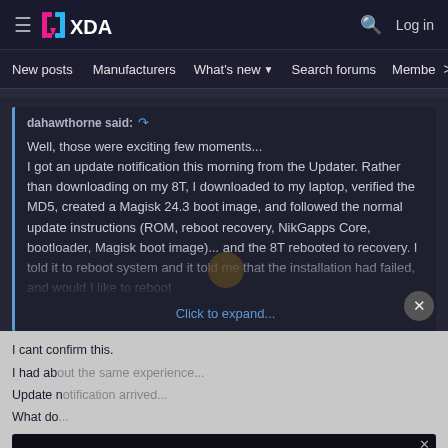XDA Developers — Log in
New posts  Manufacturers  What's new  Search forums  Members >
dahawthorne said:
Well, those were exciting few moments...
I got an update notification this morning from the Updater. Rather than downloading on my 8T, I downloaded to my laptop, verified the MD5, created a Magisk 24.3 boot image, and followed the normal update instructions (ROM, reboot recovery, NikGapps Core, bootloader, Magisk boot image)... and the 8T rebooted to recovery. I told it to reboot system and it told me that the installation had failed, and would I like to reboot
Click to expand...
I cant confirm this.
I had ab...
Update n...
What do...
[Figure (screenshot): Disney Bundle advertisement banner with Hulu, Disney+, and ESPN+ logos and GET THE DISNEY BUNDLE call to action button]